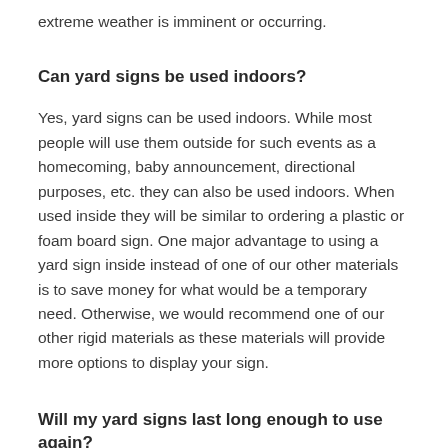extreme weather is imminent or occurring.
Can yard signs be used indoors?
Yes, yard signs can be used indoors. While most people will use them outside for such events as a homecoming, baby announcement, directional purposes, etc. they can also be used indoors. When used inside they will be similar to ordering a plastic or foam board sign. One major advantage to using a yard sign inside instead of one of our other materials is to save money for what would be a temporary need. Otherwise, we would recommend one of our other rigid materials as these materials will provide more options to display your sign.
Will my yard signs last long enough to use again?